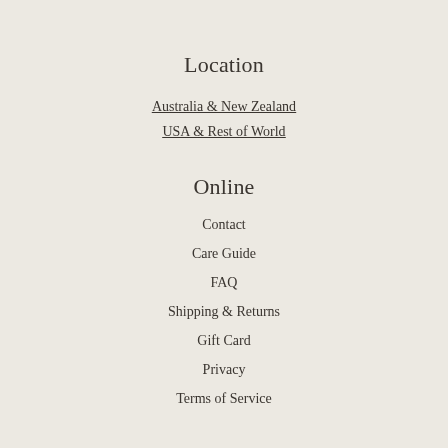Location
Australia & New Zealand
USA & Rest of World
Online
Contact
Care Guide
FAQ
Shipping & Returns
Gift Card
Privacy
Terms of Service